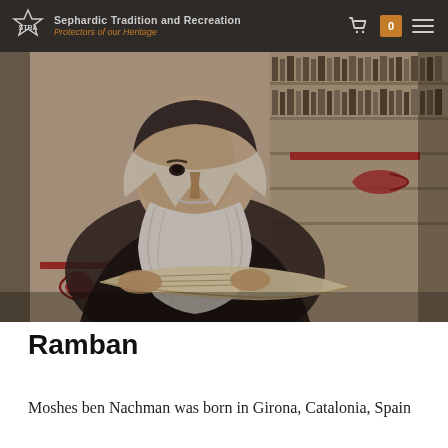Sephardic Tradition and Recreation
Protectors of our Heritage
[Figure (illustration): Black and white illustration of an elderly bearded man (Ramban/Nachmanides) sitting and reading a scroll, with red decorative elements and bookshelves in the background. Style resembles an etching or engraving.]
Ramban
Moshes ben Nachman was born in Girona, Catalonia, Spain